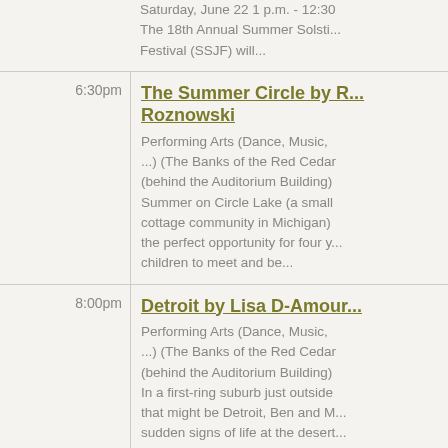Saturday, June 22 1 p.m. - 12:30
The 18th Annual Summer Solstice Festival (SSJF) will...
6:30pm — The Summer Circle by R... Roznowski
Performing Arts (Dance, Music, ...) (The Banks of the Red Cedar (behind the Auditorium Building) Summer on Circle Lake (a small cottage community in Michigan) the perfect opportunity for four y... children to meet and be...
8:00pm — Detroit by Lisa D-Amour
Performing Arts (Dance, Music, ...) (The Banks of the Red Cedar (behind the Auditorium Building) In a first-ring suburb just outside that might be Detroit, Ben and M... sudden signs of life at the desert... house next door and ...
10:00pm — The Weird by Roberto A...